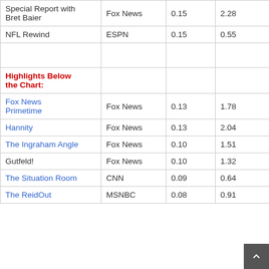| Show | Network | Rating | Viewers (M) |
| --- | --- | --- | --- |
| Special Report with Bret Baier | Fox News | 0.15 | 2.28 |
| NFL Rewind | ESPN | 0.15 | 0.55 |
|  |  |  |  |
| Highlights Below the Chart: |  |  |  |
| Fox News Primetime | Fox News | 0.13 | 1.78 |
| Hannity | Fox News | 0.13 | 2.04 |
| The Ingraham Angle | Fox News | 0.10 | 1.51 |
| Gutfeld! | Fox News | 0.10 | 1.32 |
| The Situation Room | CNN | 0.09 | 0.64 |
| The ReidOut | MSNBC | 0.08 | 0.91 |